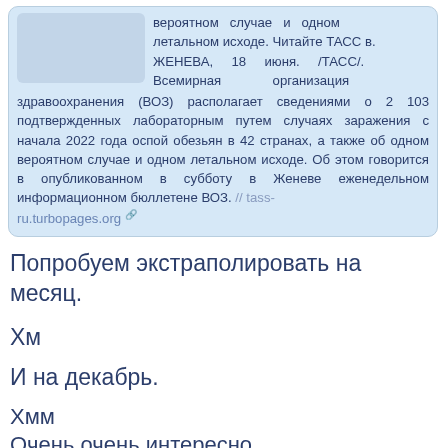...вероятном случае и одном летальном исходе. Читайте ТАСС в. ЖЕНЕВА, 18 июня. /ТАСС/. Всемирная организация здравоохранения (ВОЗ) располагает сведениями о 2 103 подтвержденных лабораторным путем случаях заражения с начала 2022 года оспой обезьян в 42 странах, а также об одном вероятном случае и одном летальном исходе. Об этом говорится в опубликованном в субботу в Женеве еженедельном информационном бюллетене ВОЗ. // tass-ru.turbopages.org
Попробуем экстраполировать на месяц.
Хм
И на декабрь.
Хмм
Очень очень интересно.